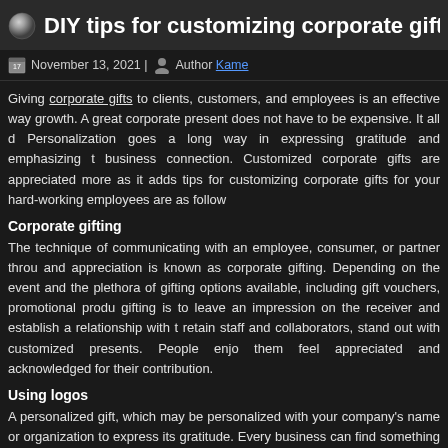DIY tips for customizing corporate gift
November 13, 2021 | Author Kame
Giving corporate gifts to clients, customers, and employees is an effective way growth. A great corporate present does not have to be expensive. It all d Personalization goes a long way in expressing gratitude and emphasizing t business connection. Customized corporate gifts are appreciated more as it adds tips for customizing corporate gifts for your hard-working employees are as follow
Corporate gifting
The technique of communicating with an employee, consumer, or partner throu and appreciation is known as corporate gifting. Depending on the event and the plethora of gifting options available, including gift vouchers, promotional produ gifting is to leave an impression on the receiver and establish a relationship with t retain staff and collaborators, stand out with customized presents. People enjo them feel appreciated and acknowledged for their contribution.
Using logos
A personalized gift, which may be personalized with your company's name or organization to express its gratitude. Every business can find something to suit select something that your receivers will enjoy, sort by price, occupation, or br present, customize it with your branding, company name, or phrase. The proc sentimental.
Gifts with brand name
Any marketing budget should include logo gifts. These personalized things a customers, thank existing ones, and provide freebies to their personnel. If you gi for customer referrals, you can boost your ROI. If you send them a thank you l recommending you new ventures.